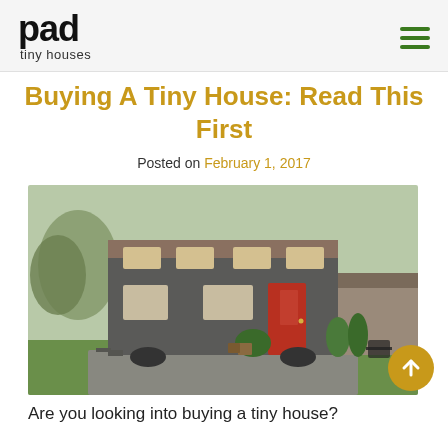pad tiny houses
Buying A Tiny House: Read This First
Posted on February 1, 2017
[Figure (photo): Exterior photo of a modern tiny house on wheels with dark gray horizontal siding, red front door, multiple windows, and a lofted roofline, surrounded by green lawn and garden plants]
Are you looking into buying a tiny house?